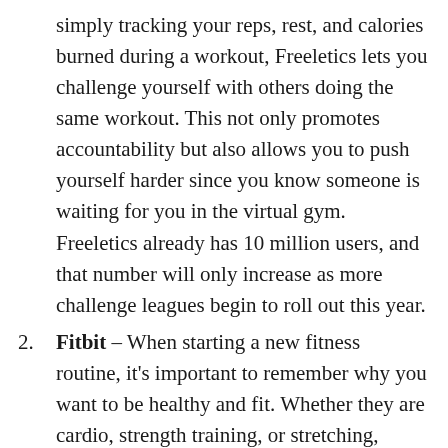simply tracking your reps, rest, and calories burned during a workout, Freeletics lets you challenge yourself with others doing the same workout. This not only promotes accountability but also allows you to push yourself harder since you know someone is waiting for you in the virtual gym. Freeletics already has 10 million users, and that number will only increase as more challenge leagues begin to roll out this year.
Fitbit – When starting a new fitness routine, it's important to remember why you want to be healthy and fit. Whether they are cardio, strength training, or stretching, workouts should be fun, which is exactly why Fitbit has quickly become an app favorite among fitness buffs. A very popular